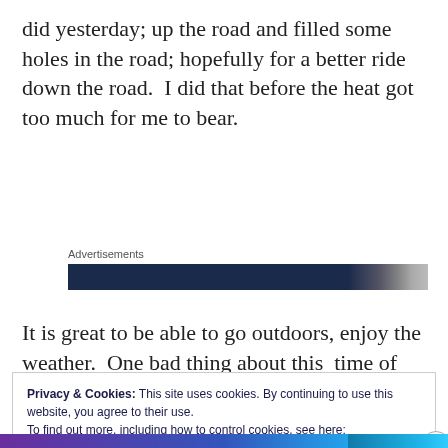did yesterday; up the road and filled some holes in the road; hopefully for a better ride down the road.  I did that before the heat got too much for me to bear.
Advertisements
[Figure (other): Advertisement banner with dark navy background and partial photo of a person on the right side]
It is great to be able to go outdoors, enjoy the weather.  One bad thing about this  time of year
Privacy & Cookies: This site uses cookies. By continuing to use this website, you agree to their use.
To find out more, including how to control cookies, see here:
Cookie Policy
Close and accept